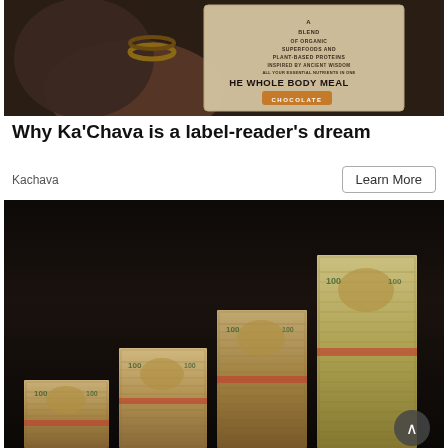[Figure (photo): Photo of a Ka'Chava whole body meal chocolate bag being held, showing text: A BLEND OF ORGANIC SUPERFOODS AND PLANT-BASED PROTEINS INSPIRED BY ANCIENT WISDOM ALL YOUR ESSENTIAL NUTRIENTS IN ONE THE WHOLE BODY MEAL CHOCOLATE]
Why Ka'Chava is a label-reader's dream
Kachava
Learn More
[Figure (photo): Photo of multiple stacks of $100 US dollar bills arranged in ascending staircase formation on a dark background]